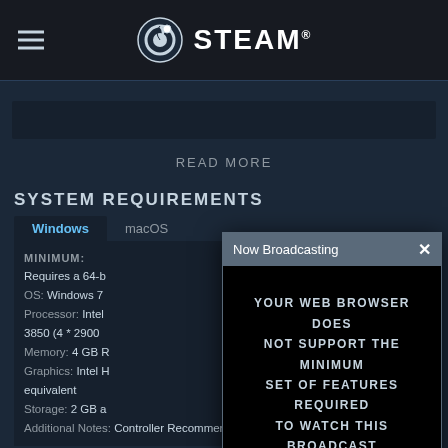STEAM®
READ MORE
SYSTEM REQUIREMENTS
Windows | macOS
MINIMUM:
Requires a 64-b
OS: Windows 7
Processor: Intel
3850 (4 * 2900
Memory: 4 GB R
Graphics: Intel H
equivalent
Storage: 2 GB a
Additional Notes: Controller Recommended
[Figure (screenshot): Steam 'Now Broadcasting' modal dialog with black video area displaying message: YOUR WEB BROWSER DOES NOT SUPPORT THE MINIMUM SET OF FEATURES REQUIRED TO WATCH THIS BROADCAST]